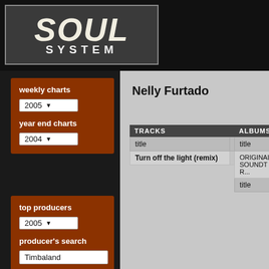SOUL SYSTEM
weekly charts
2005
year end charts
2004
top producers
2005
producer's search
Timbaland
Nelly Furtado
| TRACKS |  |
| --- | --- |
| title | year |
| Turn off the light (remix) | 2001 |
| ALBUMS |
| --- |
| title |
| ORIGINAL SOUNDTR... |
| title |